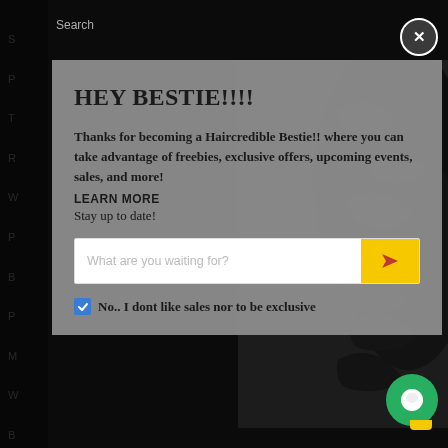Search
HEY BESTIE!!!!
Thanks for becoming a Haircredible Bestie!! where you can take advantage of freebies, exclusive offers, upcoming events, sales, and more!
LEARN MORE
Stay up to date!
[Figure (screenshot): Email signup input field with placeholder 'What are you waiting for?' and a yellow send button with arrow icon]
No.. I dont like sales nor to be exclusive